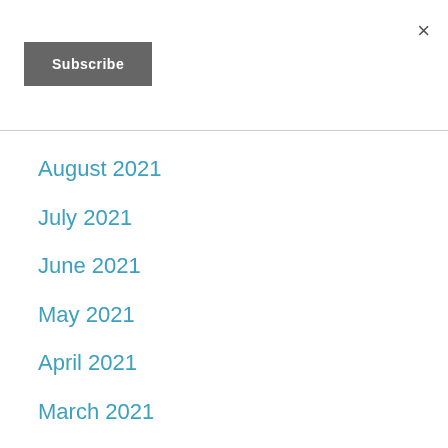×
Subscribe
August 2021
July 2021
June 2021
May 2021
April 2021
March 2021
February 2021
January 2021